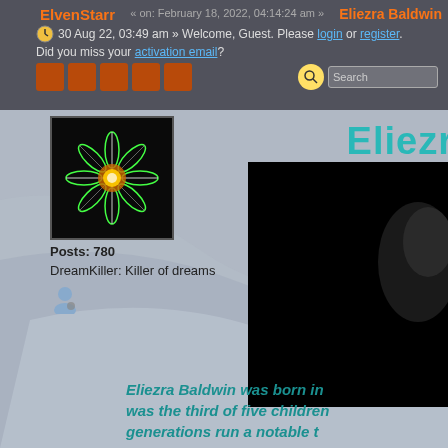ElvenStarr | Eliezra Baldwin | 30 Aug 22, 03:49 am | February 18, 2022, 04:14:24 am | Welcome, Guest. Please login or register. Did you miss your activation email?
[Figure (screenshot): Forum post user avatar - green and orange fractal flower star design on black background]
Posts: 780
DreamKiller: Killer of dreams
[Figure (photo): Dark photo of Eliezra Baldwin, mostly black with partial face visible on right edge]
Eliezr
Eliezra Baldwin was born in... was the third of five children... generations run a notable t...